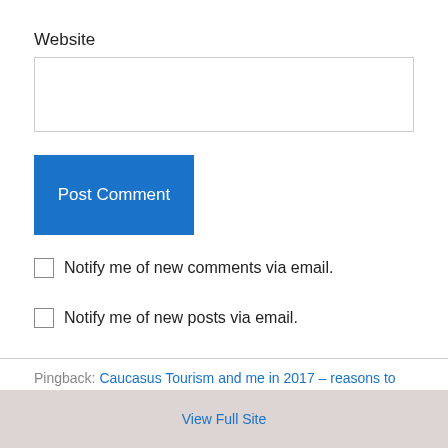Website
Post Comment
Notify me of new comments via email.
Notify me of new posts via email.
Pingback: Caucasus Tourism and me in 2017 – reasons to celebrate! | One Planet Blog on Sustainable Tourism
View Full Site